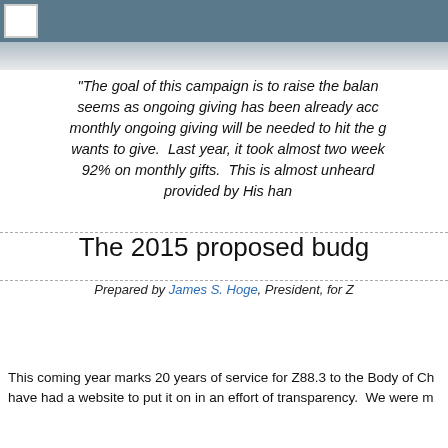“The goal of this campaign is to raise the balan seems as ongoing giving has been already acco monthly ongoing giving will be needed to hit the g wants to give. Last year, it took almost two week 92% on monthly gifts. This is almost unheard provided by His han
The 2015 proposed budg
Prepared by James S. Hoge, President, for Z
This coming year marks 20 years of service for Z88.3 to the Body of Ch have had a website to put it on in an effort of transparency. We were m